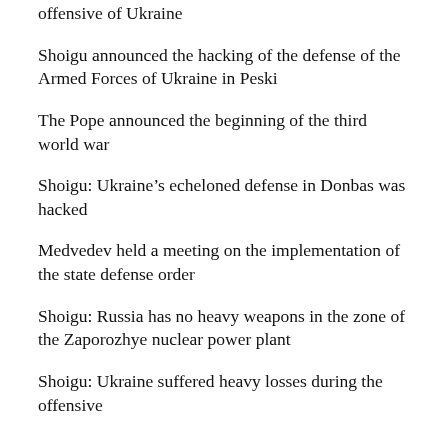offensive of Ukraine
Shoigu announced the hacking of the defense of the Armed Forces of Ukraine in Peski
The Pope announced the beginning of the third world war
Shoigu: Ukraine’s echeloned defense in Donbas was hacked
Medvedev held a meeting on the implementation of the state defense order
Shoigu: Russia has no heavy weapons in the zone of the Zaporozhye nuclear power plant
Shoigu: Ukraine suffered heavy losses during the offensive